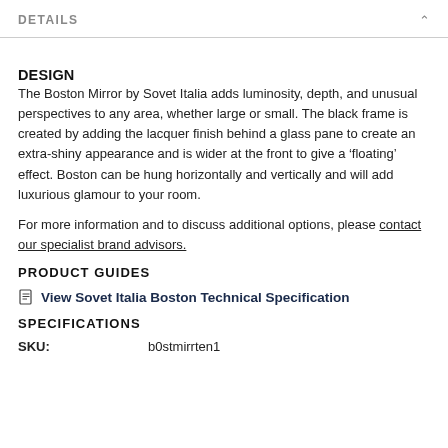DETAILS
DESIGN
The Boston Mirror by Sovet Italia adds luminosity, depth, and unusual perspectives to any area, whether large or small. The black frame is created by adding the lacquer finish behind a glass pane to create an extra-shiny appearance and is wider at the front to give a ‘floating’ effect. Boston can be hung horizontally and vertically and will add luxurious glamour to your room.
For more information and to discuss additional options, please contact our specialist brand advisors.
PRODUCT GUIDES
View Sovet Italia Boston Technical Specification
SPECIFICATIONS
| SKU: |  |
| --- | --- |
| SKU: | b0stmirrten1 |